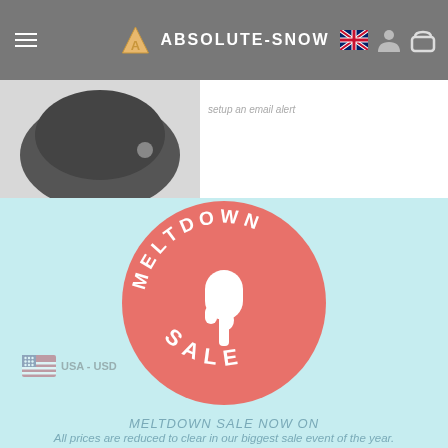ABSOLUTE-SNOW
[Figure (logo): Meltdown Sale circular logo — coral/salmon colored circle with white popsicle/ice lolly icon and text MELTDOWN SALE curved around the circle]
USA - USD
MELTDOWN SALE NOW ON
All prices are reduced to clear in our biggest sale event of the year. All items in the sale are priced to sell out. Once it's gone, it's gone, so buy now to avoid disappointment.